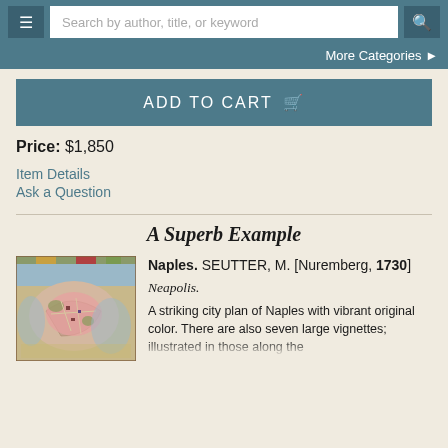Search by author, title, or keyword
More Categories
ADD TO CART
Price: $1,850
Item Details
Ask a Question
A Superb Example
[Figure (illustration): Antique map of Naples city plan with vibrant original color]
Naples. SEUTTER, M. [Nuremberg, 1730] Neapolis.
A striking city plan of Naples with vibrant original color. There are also seven large vignettes; illustrated in those along the